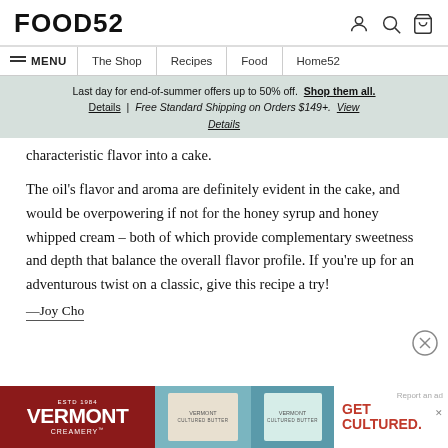FOOD52
≡ MENU | The Shop | Recipes | Food | Home52
Last day for end-of-summer offers up to 50% off. Shop them all. Details | Free Standard Shipping on Orders $149+. View Details
characteristic flavor into a cake.
The oil's flavor and aroma are definitely evident in the cake, and would be overpowering if not for the honey syrup and honey whipped cream – both of which provide complementary sweetness and depth that balance the overall flavor profile. If you're up for an adventurous twist on a classic, give this recipe a try!
—Joy Cho
[Figure (screenshot): Vermont Creamery advertisement banner at the bottom of the page]